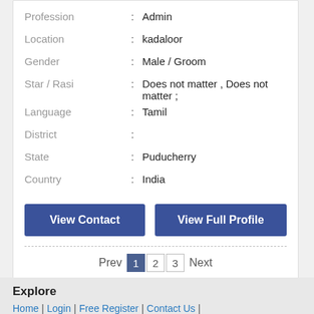| Field |  | Value |
| --- | --- | --- |
| Profession | : | Admin |
| Location | : | kadaloor |
| Gender | : | Male / Groom |
| Star / Rasi | : | Does not matter , Does not matter ; |
| Language | : | Tamil |
| District | : |  |
| State | : | Puducherry |
| Country | : | India |
View Contact
View Full Profile
Prev  1  2  3  Next
Explore
Home | Login | Free Register | Contact Us |